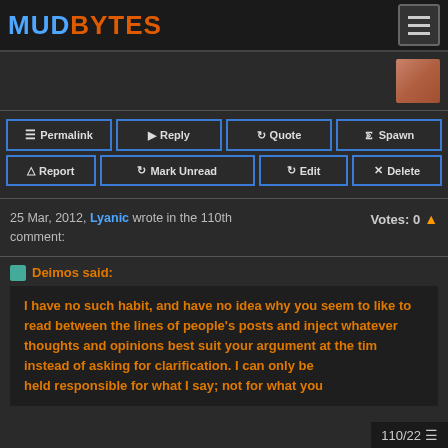MUDBYTES
Permalink | Reply | Quote | Spawn | Report | Mark Unread | Edit | Delete
25 Mar, 2012, Lyanic wrote in the 110th comment: Votes: 0
Deimos said:
I have no such habit, and have no idea why you seem to like to read between the lines of people's posts and inject whatever thoughts and opinions best suit your argument at the time instead of asking for clarification. I can only be held responsible for what I say; not for what you
110/22